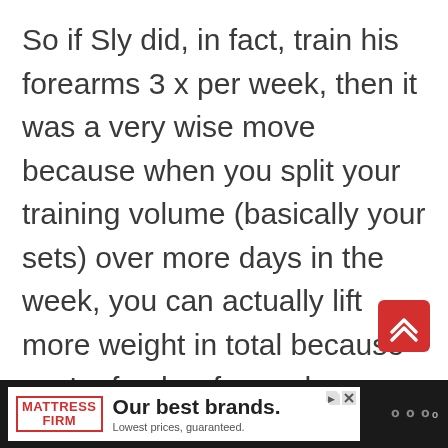So if Sly did, in fact, train his forearms 3 x per week, then it was a very wise move because when you split your training volume (basically your sets) over more days in the week, you can actually lift more weight in total because you're fresher for each workout.
[Figure (other): Red rounded square button with white double chevron up arrow (scroll-to-top button)]
[Figure (other): Advertisement banner for Mattress Firm: logo on left, text 'Our best brands. Lowest prices, guaranteed.' on dark background]